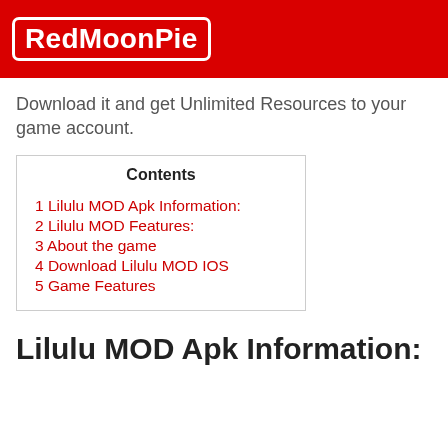RedMoonPie
Download it and get Unlimited Resources to your game account.
| Contents |
| --- |
| 1 Lilulu MOD Apk Information: |
| 2 Lilulu MOD Features: |
| 3 About the game |
| 4 Download Lilulu MOD IOS |
| 5 Game Features |
Lilulu MOD Apk Information: